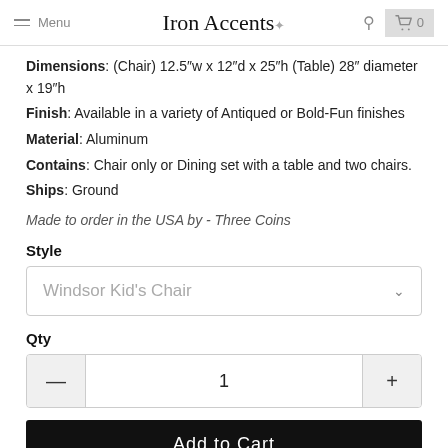Menu | Iron Accents | 0
Dimensions: (Chair) 12.5"w x 12"d x 25"h (Table) 28" diameter x 19"h
Finish: Available in a variety of Antiqued or Bold-Fun finishes
Material: Aluminum
Contains: Chair only or Dining set with a table and two chairs.
Ships: Ground
Made to order in the USA by - Three Coins
Style
Windsor Kid's Chair
Qty
1
Add to Cart